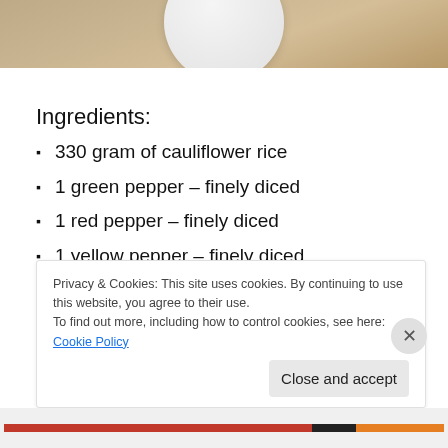[Figure (photo): Top portion of a food photo showing a white plate on a wooden surface]
Ingredients:
330 gram of cauliflower rice
1 green pepper – finely diced
1 red pepper – finely diced
1 yellow pepper – finely diced
1 red onion – finely diced
Handful of frozen green peas
Privacy & Cookies: This site uses cookies. By continuing to use this website, you agree to their use.
To find out more, including how to control cookies, see here: Cookie Policy